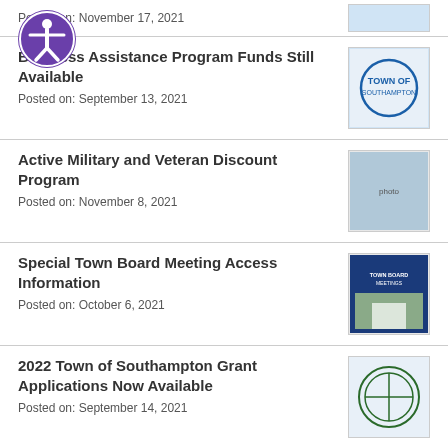Posted on: November 17, 2021
Business Assistance Program Funds Still Available
Posted on: September 13, 2021
Active Military and Veteran Discount Program
Posted on: November 8, 2021
Special Town Board Meeting Access Information
Posted on: October 6, 2021
2022 Town of Southampton Grant Applications Now Available
Posted on: September 14, 2021
"Unleashing" of Off Leash Area for Dogs in East Quogue
Posted on: September 14, 2021